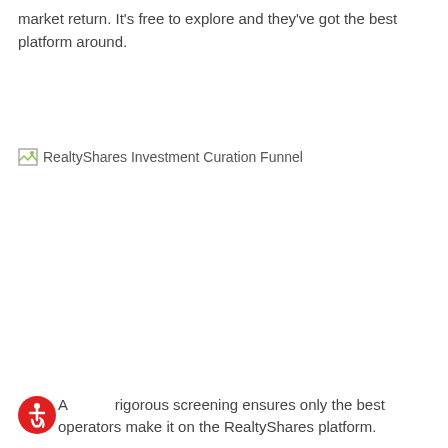market return. It's free to explore and they've got the best platform around.
[Figure (other): Broken image placeholder labeled 'RealtyShares Investment Curation Funnel']
A rigorous screening ensures only the best operators make it on the RealtyShares platform.